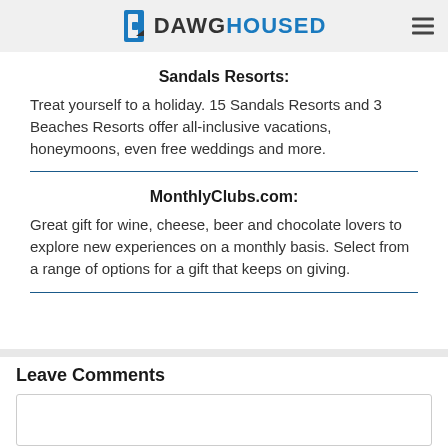DAWGHOUSED
Sandals Resorts:
Treat yourself to a holiday. 15 Sandals Resorts and 3 Beaches Resorts offer all-inclusive vacations, honeymoons, even free weddings and more.
MonthlyClubs.com:
Great gift for wine, cheese, beer and chocolate lovers to explore new experiences on a monthly basis. Select from a range of options for a gift that keeps on giving.
Leave Comments